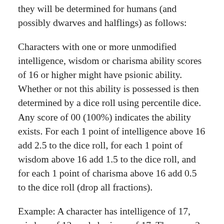they will be determined for humans (and possibly dwarves and halflings) as follows:
Characters with one or more unmodified intelligence, wisdom or charisma ability scores of 16 or higher might have psionic ability. Whether or not this ability is possessed is then determined by a dice roll using percentile dice. Any score of 00 (100%) indicates the ability exists. For each 1 point of intelligence above 16 add 2.5 to the dice roll, for each 1 point of wisdom above 16 add 1.5 to the dice roll, and for each 1 point of charisma above 16 add 0.5 to the dice roll (drop all fractions).
Example: A character has intelligence of 17, wisdom of 12, and charisma of 17. There are 2 1/2 points to be added to the psionic potential roll because